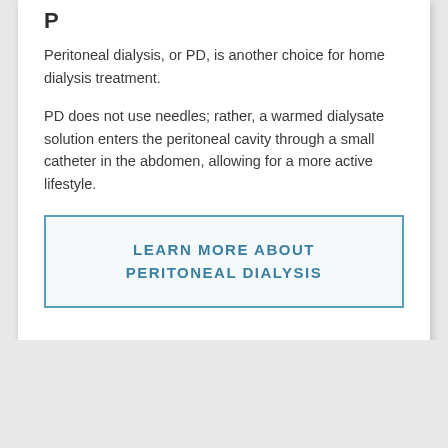Peritoneal Dialysis
Peritoneal dialysis, or PD, is another choice for home dialysis treatment.
PD does not use needles; rather, a warmed dialysate solution enters the peritoneal cavity through a small catheter in the abdomen, allowing for a more active lifestyle.
LEARN MORE ABOUT PERITONEAL DIALYSIS